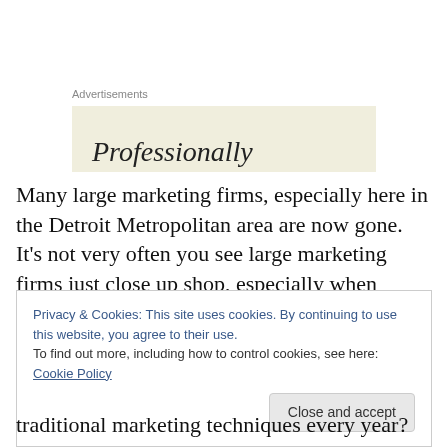Advertisements
[Figure (other): Advertisement banner with partial text 'Professionally' on a beige/cream background]
Many large marketing firms, especially here in the Detroit Metropolitan area are now gone. It's not very often you see large marketing firms just close up shop, especially when marketing is so important to gaining exposure for new products and services.
Privacy & Cookies: This site uses cookies. By continuing to use this website, you agree to their use.
To find out more, including how to control cookies, see here: Cookie Policy
Close and accept
traditional marketing techniques every year?